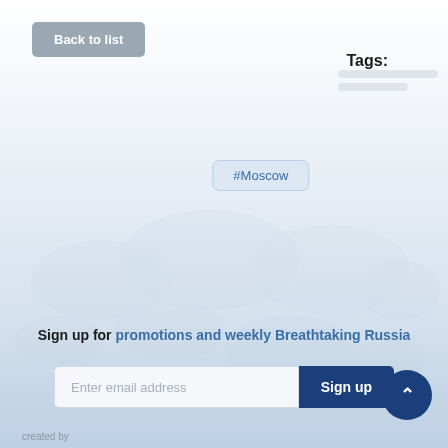Back to list
Tags:
#Moscow
[Figure (map): Faint world map watermark in blue-grey tones forming background decoration]
Sign up for promotions and weekly Breathtaking Russia
Enter email address
Sign up
created by